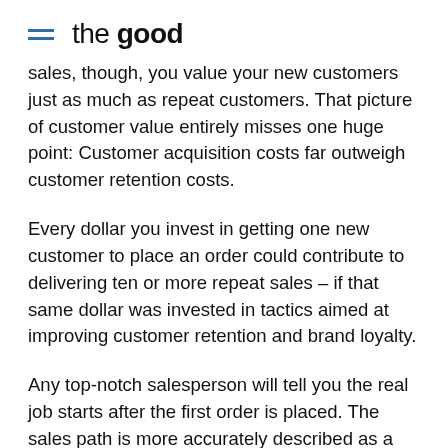the good
sales, though, you value your new customers just as much as repeat customers. That picture of customer value entirely misses one huge point: Customer acquisition costs far outweigh customer retention costs.
Every dollar you invest in getting one new customer to place an order could contribute to delivering ten or more repeat sales – if that same dollar was invested in tactics aimed at improving customer retention and brand loyalty.
Any top-notch salesperson will tell you the real job starts after the first order is placed. The sales path is more accurately described as a circle leading from